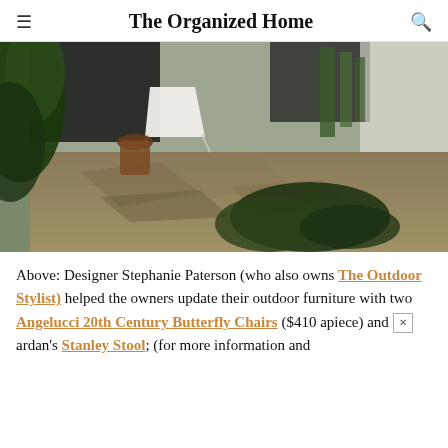The Organized Home
[Figure (photo): Outdoor patio scene with stone flooring, white butterfly chairs, a dark wood stool, lush green plants on left, tall succulent plants on right, and a white wall building in the background.]
Above: Designer Stephanie Paterson (who also owns The Outdoor Stylist) helped the owners update their outdoor furniture with two Angelucci 20th Century Butterfly Chairs ($410 apiece) and ardan's Stanley Stool; (for more information and